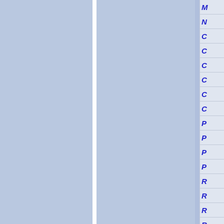[Figure (other): Navigation index panel on the right side showing truncated blue italic letter labels: M, N, C, C, C, C, C, C, P, P, P, P, R, R, R, R. Two large blue-gray rectangular panels on the left separated by a white vertical divider.]
M
N
C
C
C
C
C
C
P
P
P
P
R
R
R
R